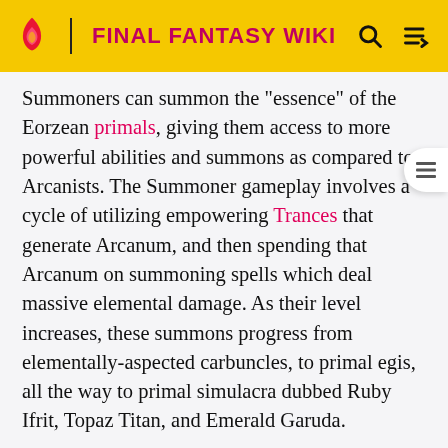FINAL FANTASY WIKI
Summoners can summon the "essence" of the Eorzean primals, giving them access to more powerful abilities and summons as compared to Arcanists. The Summoner gameplay involves a cycle of utilizing empowering Trances that generate Arcanum, and then spending that Arcanum on summoning spells which deal massive elemental damage. As their level increases, these summons progress from elementally-aspected carbuncles, to primal egis, all the way to primal simulacra dubbed Ruby Ifrit, Topaz Titan, and Emerald Garuda.
In Endwalker Urianger Augurelt may change his job into Lythomancer, a special breed of Summoner, in The Mothercrystal trial when the player is a Healer.